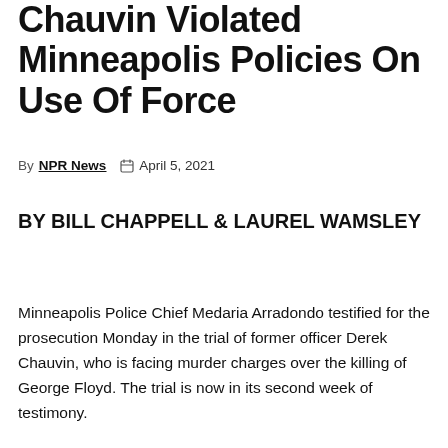Chauvin Violated Minneapolis Policies On Use Of Force
By NPR News  April 5, 2021
BY BILL CHAPPELL & LAUREL WAMSLEY
Minneapolis Police Chief Medaria Arradondo testified for the prosecution Monday in the trial of former officer Derek Chauvin, who is facing murder charges over the killing of George Floyd. The trial is now in its second week of testimony.